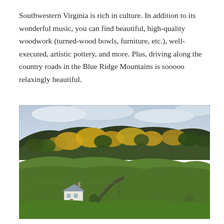Southwestern Virginia is rich in culture. In addition to its wonderful music, you can find beautiful, high-quality woodwork (turned-wood bowls, furniture, etc.), well-executed, artistic pottery, and more. Plus, driving along the country roads in the Blue Ridge Mountains is sooooo relaxingly beautiful.
[Figure (photo): Autumn landscape of the Blue Ridge Mountains in southwestern Virginia, showing rolling green hills in the foreground with a white farmhouse and red barn, surrounded by forests of trees with yellow, orange, and green fall foliage under an overcast sky.]